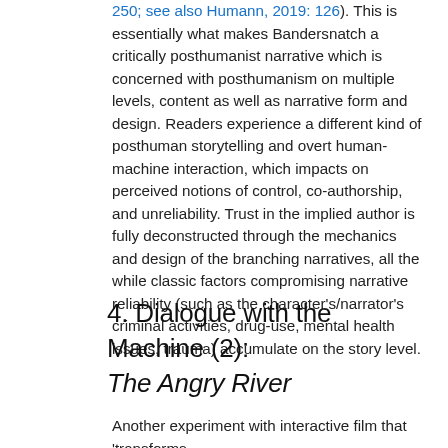250; see also Humann, 2019: 126). This is essentially what makes Bandersnatch a critically posthumanist narrative which is concerned with posthumanism on multiple levels, content as well as narrative form and design. Readers experience a different kind of posthuman storytelling and overt human-machine interaction, which impacts on perceived notions of control, co-authorship, and unreliability. Trust in the implied author is fully deconstructed through the mechanics and design of the branching narratives, all the while classic factors compromising narrative reliability (such as the character's/narrator's criminal activities, drug-use, mental health issues, trauma) accumulate on the story level.
4. Dialogue with the Machine (2): The Angry River
Another experiment with interactive film that 'transforms